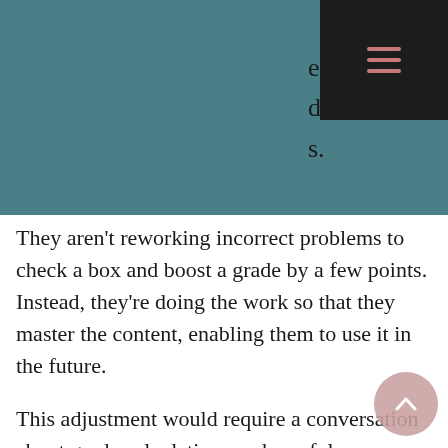[Figure (other): Teal/dark teal header background with dark menu icon (hamburger) box in top right corner. Partially visible text to the right reading 'elieve', 'dent's', 's.']
They aren't reworking incorrect problems to check a box and boost a grade by a few points. Instead, they're doing the work so that they master the content, enabling them to use it in the future.
This adjustment would require a conversation about grade calculations and careful communication to all stakeholders. It could be frustrating for a student who is accustomed to a high early-quarter score "padding" their overall grade when they find that a less-stellar recent, cumulative assessment